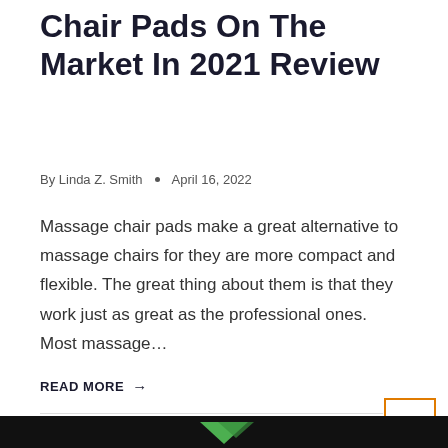Chair Pads On The Market In 2021 Review
By Linda Z. Smith  •  April 16, 2022
Massage chair pads make a great alternative to massage chairs for they are more compact and flexible. The great thing about them is that they work just as great as the professional ones. Most massage...
READ MORE →